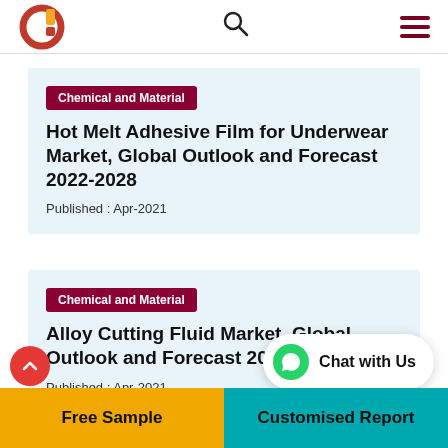Header with logo, search icon, and menu
Chemical and Material
Hot Melt Adhesive Film for Underwear Market, Global Outlook and Forecast 2022-2028
Published : Apr-2021
Chemical and Material
Alloy Cutting Fluid Market, Global Outlook and Forecast 2022-2028
Published : Apr-2021